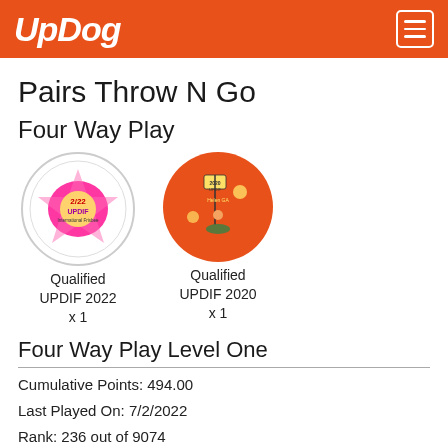UpDog
Pairs Throw N Go
Four Way Play
[Figure (illustration): Circular badge with white background and border showing '2/22 UPDIF International Frisbee' tournament logo with cartoon characters]
Qualified UPDIF 2022 x 1
[Figure (illustration): Circular badge with orange background showing '2020 UPDIF Helen GA' tournament logo with cartoon character holding a flag]
Qualified UPDIF 2020 x 1
Four Way Play Level One
Cumulative Points: 494.00
Last Played On: 7/2/2022
Rank: 236 out of 9074
Personal Best: 34.00